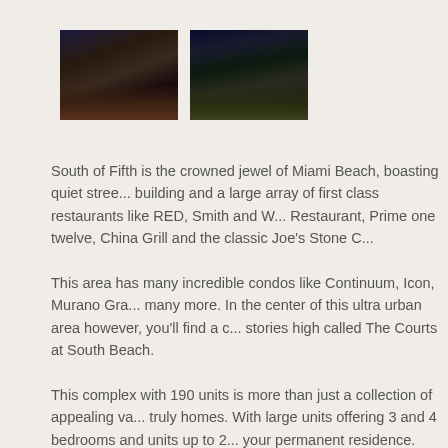[Figure (photo): Nighttime photo of Miami Beach skyline/streets with warm city lights]
[Figure (photo): Nighttime photo of Miami Beach buildings/area with ambient lighting]
South of Fifth is the crowned jewel of Miami Beach, boasting quiet stree... building and a large array of first class restaurants like RED, Smith and W... Restaurant, Prime one twelve, China Grill and the classic Joe's Stone C...
This area has many incredible condos like Continuum, Icon, Murano Gra... many more. In the center of this ultra urban area however, you'll find a c... stories high called The Courts at South Beach.
This complex with 190 units is more than just a collection of appealing va... truly homes. With large units offering 3 and 4 bedrooms and units up to 2... your permanent residence.
This is not some kind of condo, resort or hotel, The Courts has one of th... than any other building in South Beach. Most of its residents at The Cou... building very desirable for families with small children, pet lovers and So...
Even so, The Courts is not like many South Beach condos that sometim... Two pools, Jacuzzi, gym, party room, a racquetball court, state of the a...